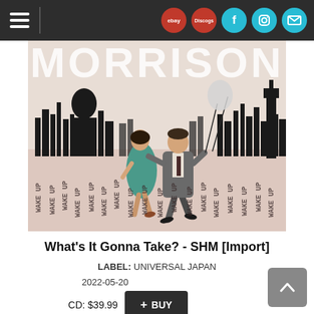Navigation bar with menu, ebay, Discogs, Facebook, Instagram, Mail icons
[Figure (illustration): Album cover art for Van Morrison 'What's It Gonna Take? - SHM [Import]'. Shows a couple (woman in teal dress, man in suit) dancing/running against a London skyline silhouette. The word 'MORRISON' appears large in white at top. Repeated text 'WAKE UP' fills the lower portion of the image in a stamp-like typeface against a pinkish/cream background.]
What's It Gonna Take? - SHM [Import]
LABEL: UNIVERSAL JAPAN
2022-05-20
CD: $39.99  + BUY